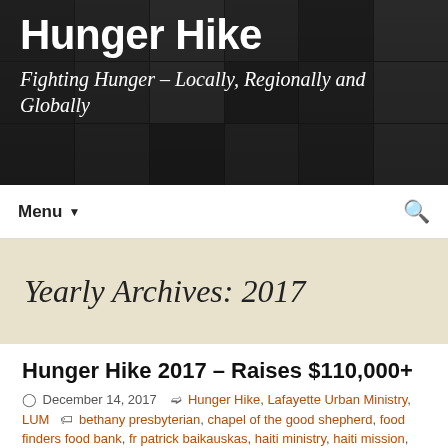Hunger Hike – Fighting Hunger – Locally, Regionally and Globally
Yearly Archives: 2017
Hunger Hike 2017 – Raises $110,000+
December 14, 2017   Hunger Hike, Lafayette Urban Ministry, LUM   bethany presbyterian, chapel of the good shepherd, food finders food bank, fr patrick baikauskas, haiti ministry, haiti mission, hunger hike, Joe Micon, katy bunder, lafayette life foundation, lafayette urban ministry, lum, purdue computer science, sams club, st thomas aquinas, walmart